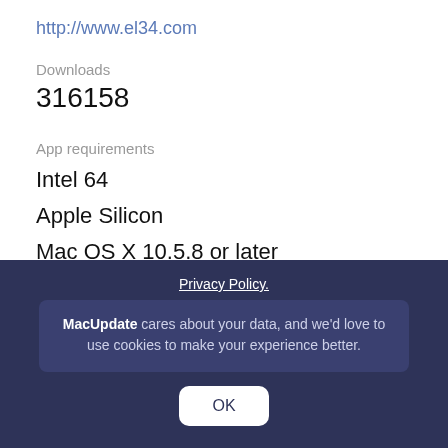http://www.el34.com
Downloads
316158
App requirements
Intel 64
Apple Silicon
Mac OS X 10.5.8 or later
Try our new feature and write a detailed review about Eddie. All reviews will be posted soon.
Privacy Policy.
MacUpdate cares about your data, and we'd love to use cookies to make your experience better.
OK